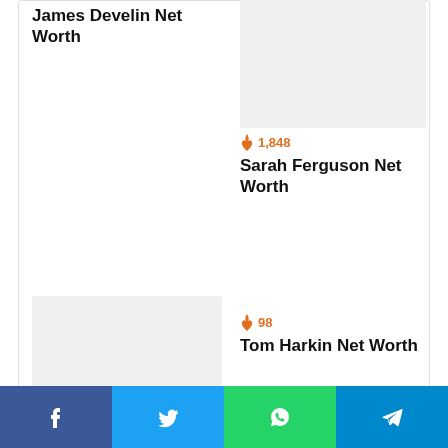James Develin Net Worth
[Figure (photo): Sarah Ferguson thumbnail image placeholder (light gray)]
🔥 1,848
Sarah Ferguson Net Worth
[Figure (photo): Tom Harkin / Mike Greenberg thumbnail image placeholder (light gray)]
🔥 98
Tom Harkin Net Worth
🔥 212
Mike Greenberg Net Worth
Leave Reply